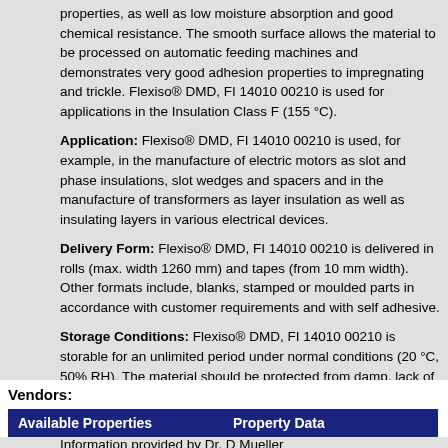properties, as well as low moisture absorption and good chemical resistance. The smooth surface allows the material to be processed on automatic feeding machines and demonstrates very good adhesion properties to impregnating and trickle. Flexiso® DMD, FI 14010 00210 is used for applications in the Insulation Class F (155 °C).
Application: Flexiso® DMD, FI 14010 00210 is used, for example, in the manufacture of electric motors as slot and phase insulations, slot wedges and spacers and in the manufacture of transformers as layer insulation as well as insulating layers in various electrical devices.
Delivery Form: Flexiso® DMD, FI 14010 00210 is delivered in rolls (max. width 1260 mm) and tapes (from 10 mm width). Other formats include, blanks, stamped or moulded parts in accordance with customer requirements and with self adhesive.
Storage Conditions: Flexiso® DMD, FI 14010 00210 is storable for an unlimited period under normal conditions (20 °C, 50% RH). The material should be protected from damp, lack of moisture, direct sunlight and UV radiation exposure as well as any protected heat effects.
Information provided by Dr. D Mueller
Vendors:
| Available Properties | Property Data |
| --- | --- |